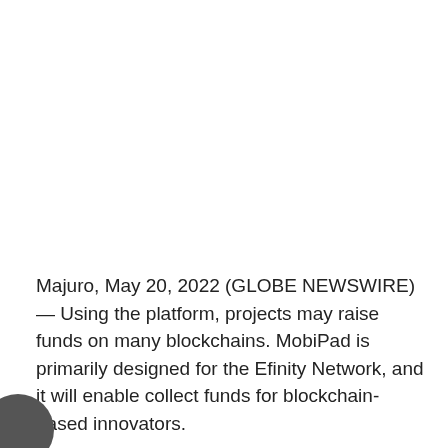Majuro, May 20, 2022 (GLOBE NEWSWIRE) — Using the platform, projects may raise funds on many blockchains. MobiPad is primarily designed for the Efinity Network, and it will enable collect funds for blockchain-based innovators.